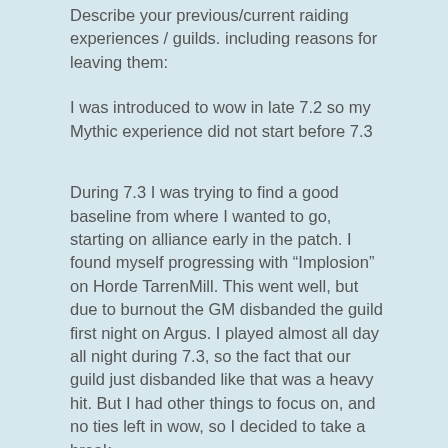Describe your previous/current raiding experiences / guilds. including reasons for leaving them:
I was introduced to wow in late 7.2 so my Mythic experience did not start before 7.3
During 7.3 I was trying to find a good baseline from where I wanted to go, starting on alliance early in the patch. I found myself progressing with “Implosion” on Horde TarrenMill. This went well, but due to burnout the GM disbanded the guild first night on Argus. I played almost all day all night during 7.3, so the fact that our guild just disbanded like that was a heavy hit. But I had other things to focus on, and no ties left in wow, so I decided to take a break.
I returned for 8.3 where me and some RL friends joined a guild called “Quick Release”. The officer team there had